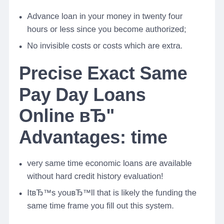Advance loan in your money in twenty four hours or less since you become authorized;
No invisible costs or costs which are extra.
Precise Exact Same Pay Day Loans Online вЂ" Advantages: time
very same time economic loans are available without hard credit history evaluation!
ItвЂ™s youвЂ™ll that is likely the funding the same time frame you fill out this system.